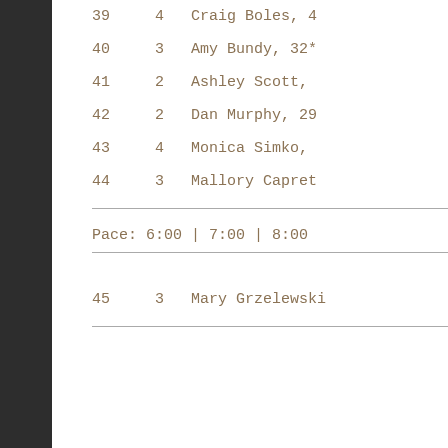39    4   Craig Boles, 4
40    3   Amy Bundy, 32*
41    2   Ashley Scott,
42    2   Dan Murphy, 29
43    4   Monica Simko,
44    3   Mallory Capret
Pace: 6:00 | 7:00 | 8:00
45    3   Mary Grzelewski